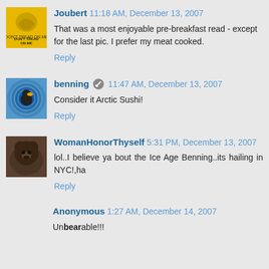Joubert 11:18 AM, December 13, 2007 — That was a most enjoyable pre-breakfast read - except for the last pic. I prefer my meat cooked. Reply
benning 11:47 AM, December 13, 2007 — Consider it Arctic Sushi! Reply
WomanHonorThyself 5:31 PM, December 13, 2007 — lol..I believe ya bout the Ice Age Benning..its hailing in NYC!,ha Reply
Anonymous 1:27 AM, December 14, 2007 — Unbearable!!!